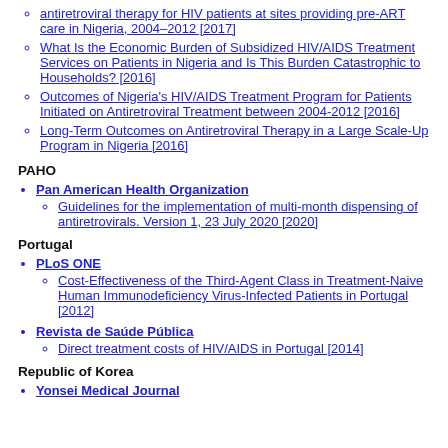antiretroviral therapy for HIV patients at sites providing pre-ART care in Nigeria, 2004–2012 [2017]
What Is the Economic Burden of Subsidized HIV/AIDS Treatment Services on Patients in Nigeria and Is This Burden Catastrophic to Households? [2016]
Outcomes of Nigeria's HIV/AIDS Treatment Program for Patients Initiated on Antiretroviral Treatment between 2004-2012 [2016]
Long-Term Outcomes on Antiretroviral Therapy in a Large Scale-Up Program in Nigeria [2016]
PAHO
Pan American Health Organization
Guidelines for the implementation of multi-month dispensing of antiretrovirals. Version 1, 23 July 2020 [2020]
Portugal
PLoS ONE
Cost-Effectiveness of the Third-Agent Class in Treatment-Naive Human Immunodeficiency Virus-Infected Patients in Portugal [2012]
Revista de Saúde Pública
Direct treatment costs of HIV/AIDS in Portugal [2014]
Republic of Korea
Yonsei Medical Journal